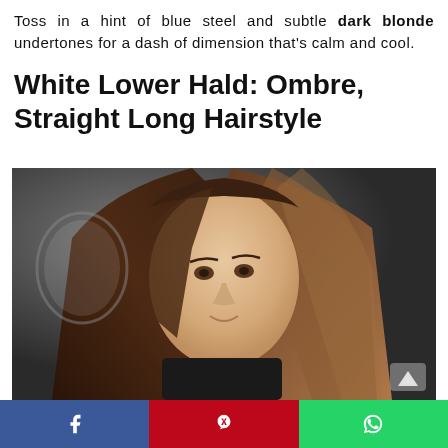Toss in a hint of blue steel and subtle dark blonde undertones for a dash of dimension that’s calm and cool.
White Lower Hald: Ombre, Straight Long Hairstyle
[Figure (photo): Young woman with long straight ombre hair, dark brown at roots fading to lighter tones, photographed in a salon setting]
Facebook share | Pinterest share | WhatsApp share